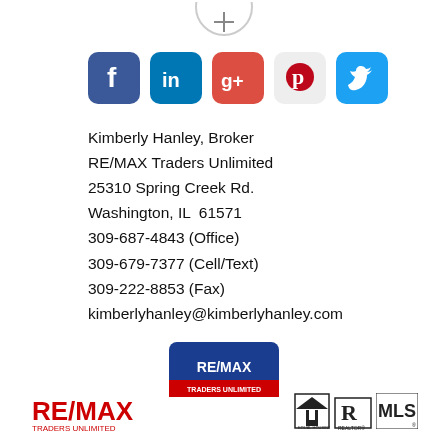[Figure (logo): Partial circular logo/icon at top center]
[Figure (infographic): Row of social media icons: Facebook (blue), LinkedIn (blue), Google+ (red/orange), Pinterest (red/white), Twitter (cyan)]
Kimberly Hanley, Broker
RE/MAX Traders Unlimited
25310 Spring Creek Rd.
Washington, IL  61571
309-687-4843 (Office)
309-679-7377 (Cell/Text)
309-222-8853 (Fax)
kimberlyhanley@kimberlyhanley.com
[Figure (logo): RE/MAX Traders Unlimited logo centered]
[Figure (logo): RE/MAX logo, Realtor MLS logo, Equal Housing Opportunity logo at bottom]